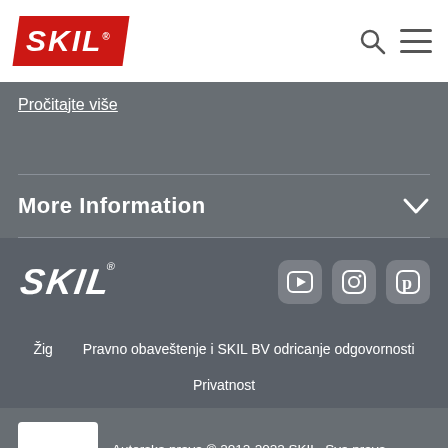[Figure (logo): SKIL logo in red banner, top left]
Pročitajte više
More Information
[Figure (logo): SKIL logo in white on dark gray footer]
[Figure (other): Social media icons: YouTube, Instagram, Pinterest]
Žig   Pravno obaveštenje i SKIL BV odricanje odgovornosti
Privatnost
Autorska prava © 2012-2022 SKIL. Sva prava zadržana.